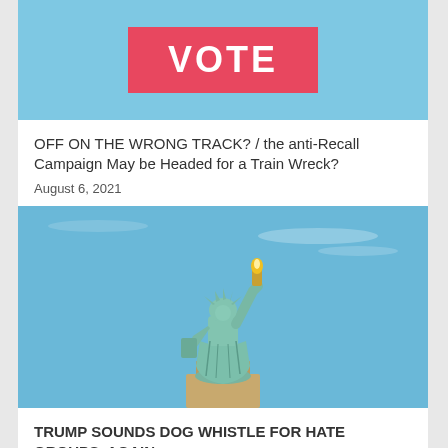[Figure (photo): Blue sky background with a red/pink banner containing the word VOTE in large white bold letters]
OFF ON THE WRONG TRACK? / the anti-Recall Campaign May be Headed for a Train Wreck?
August 6, 2021
[Figure (photo): Photograph of the Statue of Liberty against a blue sky]
TRUMP SOUNDS DOG WHISTLE FOR HATE GROUPS, AGAIN